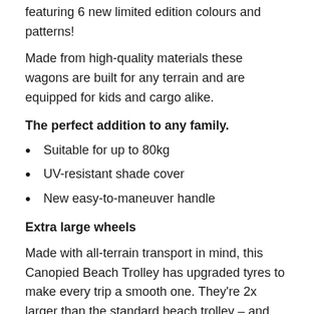featuring 6 new limited edition colours and patterns!
Made from high-quality materials these wagons are built for any terrain and are equipped for kids and cargo alike.
The perfect addition to any family.
Suitable for up to 80kg
UV-resistant shade cover
New easy-to-maneuver handle
Extra large wheels
Made with all-terrain transport in mind, this Canopied Beach Trolley has upgraded tyres to make every trip a smooth one. They're 2x larger than the standard beach trolley – and just as easy to pack away in seconds!